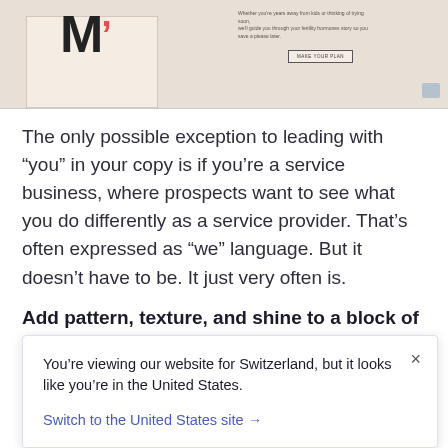[Figure (screenshot): Screenshot of a website showing a stylized letter M logo with a red accent mark, a light beige/tan box on a wooden surface, a text block and an outlined button on the right, and a chat icon in the bottom right corner.]
The only possible exception to leading with “you” in your copy is if you’re a service business, where prospects want to see what you do differently as a service provider. That’s often expressed as “we” language. But it doesn’t have to be. It just very often is.
Add pattern, texture, and shine to a block of copy.
You’re viewing our website for Switzerland, but it looks like you’re in the United States.

Switch to the United States site →